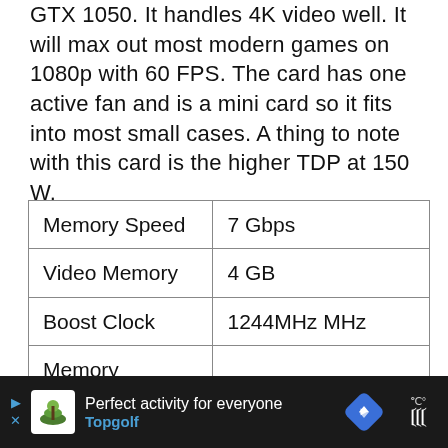GTX 1050. It handles 4K video well. It will max out most modern games on 1080p with 60 FPS. The card has one active fan and is a mini card so it fits into most small cases. A thing to note with this card is the higher TDP at 150 W.
| Memory Speed | 7 Gbps |
| Video Memory | 4 GB |
| Boost Clock | 1244MHz MHz |
| Memory Bandwidth | 224 GB/sec |
| Maximum Digital |  |
Perfect activity for everyone Topgolf